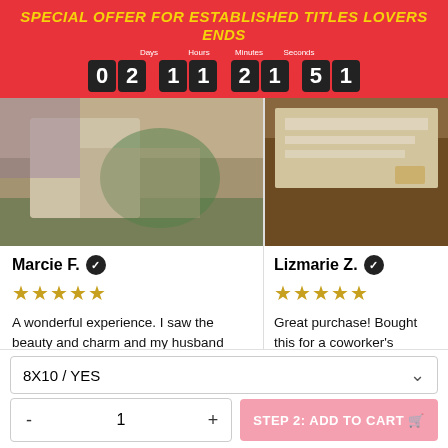SPECIAL OFFER FOR ESTABLISHED TITLES LOVERS ENDS
02:11:21:51
[Figure (photo): Photo of a person holding what appears to be an art print or book, with floral/patterned decor in background]
[Figure (photo): Photo of papers or prints on a wooden table surface]
Marcie F. ✓
★★★★★
A wonderful experience. I saw the beauty and charm and my husband thought funny but cute. My granddaughter is now art the whole family to enjoy. ♥♥♥
Item type:
Lizmarie Z. ✓
★★★★★
Great purchase! Bought this for a coworker's birthday and everyone loved it. The picture doesn't do it justice. I came wrapped in clear wrap, so the pic looks a bit shiny, but 100% recommend!
8X10 / YES
1
STEP 2: ADD TO CART 🛒